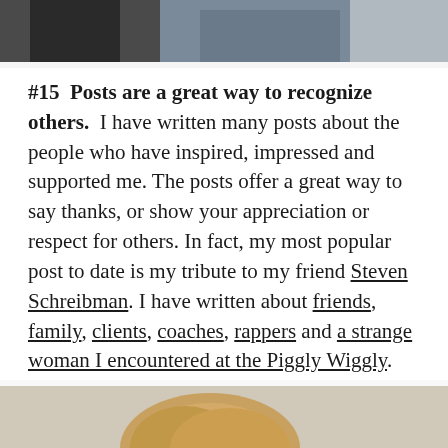[Figure (photo): Top portion of a photo showing two people, cropped at the waist/legs level]
#15  Posts are a great way to recognize others.  I have written many posts about the people who have inspired, impressed and supported me. The posts offer a great way to say thanks, or show your appreciation or respect for others. In fact, my most popular post to date is my tribute to my friend Steven Schreibman. I have written about friends, family, clients, coaches, rappers and a strange woman I encountered at the Piggly Wiggly. They have all been popular posts. Granted, some of them had nothing to do with advertising or entrepreneurship. But it's my blog, I can write what I want to.
[Figure (photo): Bottom portion of a photo showing a person, cropped at the top of their head/hair]